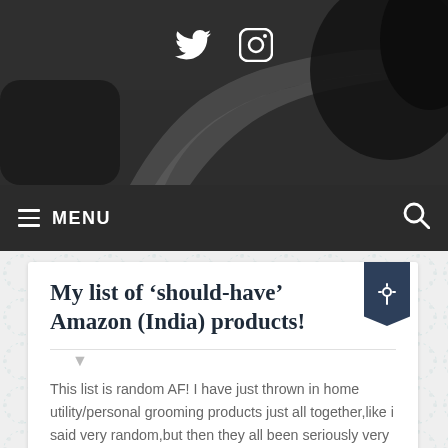[Figure (photo): Black and white photo of a winding road/path with trees or bushes on the right side, with Twitter and Instagram social media icons overlaid at the top center]
≡ MENU  🔍
My list of ‘should-have’ Amazon (India) products!
This list is random AF! I have just thrown in home utility/personal grooming products just all together,like i said very random,but then they all been seriously very useful to me in the past 1-2 years,hence